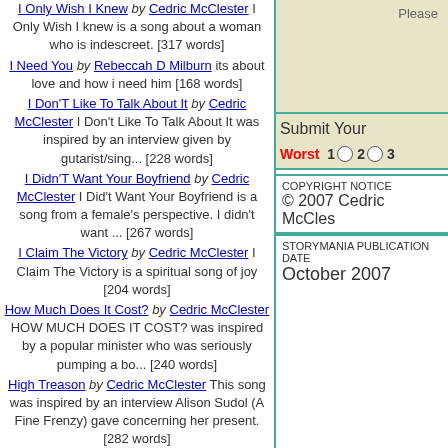I Only Wish I Knew by Cedric McClester I Only Wish I knew is a song about a woman who is indescreet. [317 words]
I Need You by Rebeccah D Milburn its about love and how i need him [168 words]
I Don'T Like To Talk About It by Cedric McClester I Don't Like To Talk About It was inspired by an interview given by gutarist/sing... [228 words]
I Didn'T Want Your Boyfriend by Cedric McClester I Did't Want Your Boyfriend is a song from a female's perspective. I didn't want ... [267 words]
I Claim The Victory by Cedric McClester I Claim The Victory is a spiritual song of joy [204 words]
How Much Does It Cost? by Cedric McClester HOW MUCH DOES IT COST? was inspired by a popular minister who was seriously pumping a bo... [240 words]
High Treason by Cedric McClester This song was inspired by an interview Alison Sudol (A Fine Frenzy) gave concerning her present. [282 words]
Hey There Fredo by Cedric McClester Any resemblance to anyone living or dead is purely incidental, or is it? [189 words]
He Pretends by Cedric McClester He Pretends is about a guy who will say anything or do anything to get what Lauren
Please
Submit Your
Worst 1 2 3
COPYRIGHT NOTICE © 2007 Cedric McCles
STORYMANIA PUBLICATION DATE October 2007